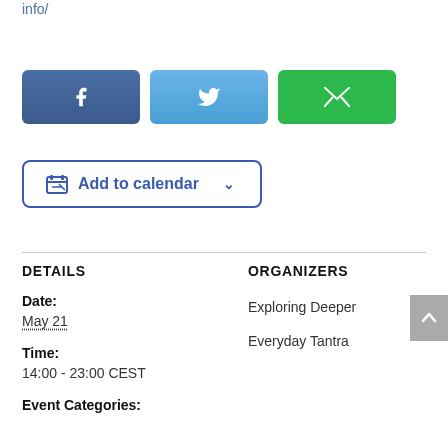info/
[Figure (infographic): Three social share buttons: Facebook (dark blue with f icon), Twitter (light blue with bird icon), Email (green with envelope icon)]
Add to calendar
DETAILS
ORGANIZERS
Date:
May 21
Exploring Deeper
Everyday Tantra
Time:
14:00 - 23:00 CEST
Event Categories: